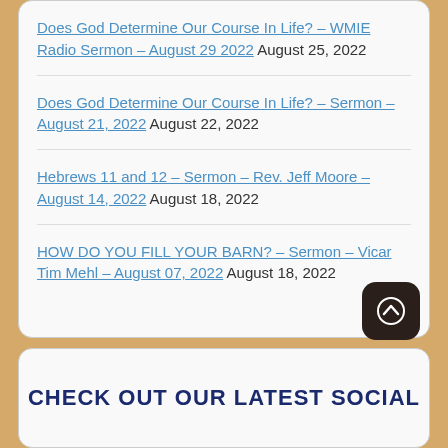Does God Determine Our Course In Life? – WMIE Radio Sermon – August 29 2022 August 25, 2022
Does God Determine Our Course In Life? – Sermon – August 21, 2022 August 22, 2022
Hebrews 11 and 12 – Sermon – Rev. Jeff Moore – August 14, 2022 August 18, 2022
HOW DO YOU FILL YOUR BARN? – Sermon – Vicar Tim Mehl – August 07, 2022 August 18, 2022
CHECK OUT OUR LATEST SOCIAL